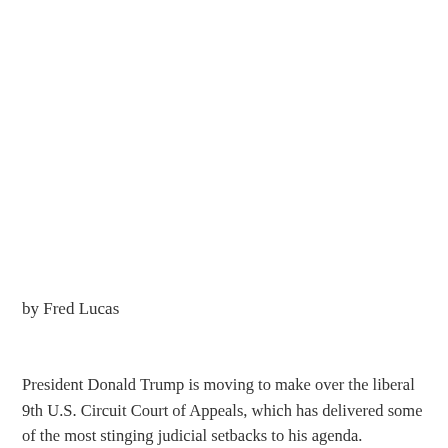by Fred Lucas
President Donald Trump is moving to make over the liberal 9th U.S. Circuit Court of Appeals, which has delivered some of the most stinging judicial setbacks to his agenda.